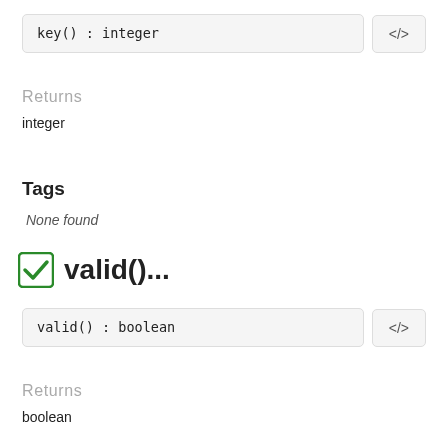key() : integer
Returns
integer
Tags
None found
valid()...
valid() : boolean
Returns
boolean